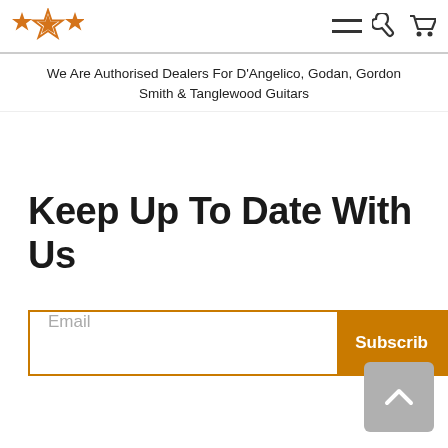★ ✭ ★ [logo stars] [nav icons]
We Are Authorised Dealers For D'Angelico, Godan, Gordon Smith & Tanglewood Guitars
Keep Up To Date With Us
Email  Subscribe
[Figure (other): Back to top button with upward chevron arrow, grey rounded square]